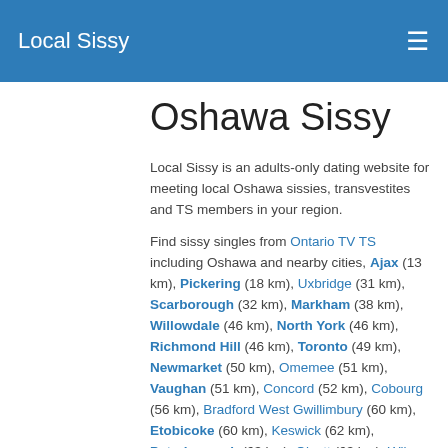Local Sissy
Oshawa Sissy
Local Sissy is an adults-only dating website for meeting local Oshawa sissies, transvestites and TS members in your region.
Find sissy singles from Ontario TV TS including Oshawa and nearby cities, Ajax (13 km), Pickering (18 km), Uxbridge (31 km), Scarborough (32 km), Markham (38 km), Willowdale (46 km), North York (46 km), Richmond Hill (46 km), Toronto (49 km), Newmarket (50 km), Omemee (51 km), Vaughan (51 km), Concord (52 km), Cobourg (56 km), Bradford West Gwillimbury (60 km), Etobicoke (60 km), Keswick (62 km), Peterborough (63 km), Olcott (63 km), Wilson (65 km), Skatepark (67 km), Newfane